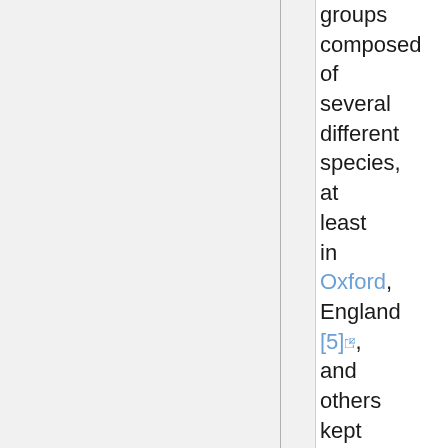groups composed of several different species, at least in Oxford, England [5], and others kept